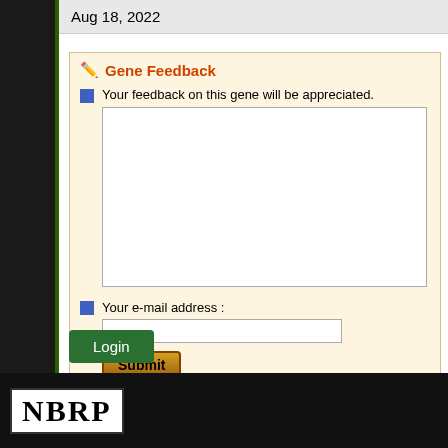Aug 18, 2022
Gene Feedback
Your feedback on this gene will be appreciated.
Your e-mail address :
Submit
Login
[Figure (logo): NBRP logo in black and white box on black background]